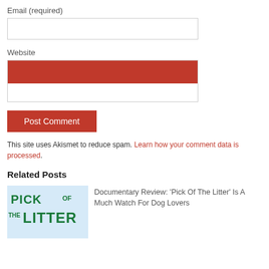Email (required)
[Figure (screenshot): Empty email input field (form text box)]
Website
[Figure (screenshot): Empty website input field (form text box) with red fill at top]
Post Comment
This site uses Akismet to reduce spam. Learn how your comment data is processed.
Related Posts
[Figure (illustration): Thumbnail image for 'Pick of the Litter' documentary with light blue background and green bold text]
Documentary Review: ‘Pick Of The Litter’ Is A Much Watch For Dog Lovers